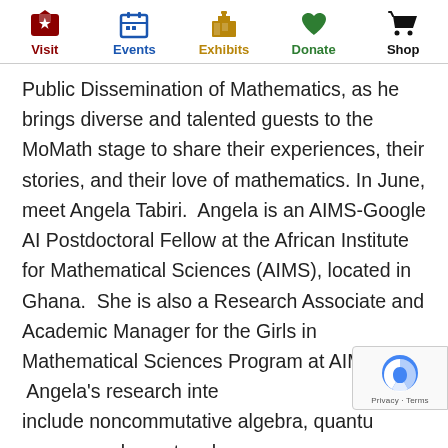Visit | Events | Exhibits | Donate | Shop
Public Dissemination of Mathematics, as he brings diverse and talented guests to the MoMath stage to share their experiences, their stories, and their love of mathematics. In June, meet Angela Tabiri. Angela is an AIMS-Google AI Postdoctoral Fellow at the African Institute for Mathematical Sciences (AIMS), located in Ghana. She is also a Research Associate and Academic Manager for the Girls in Mathematical Sciences Program at AIMS. Angela's research interests include noncommutative algebra, quantum groups, and quantum homogeneous spaces